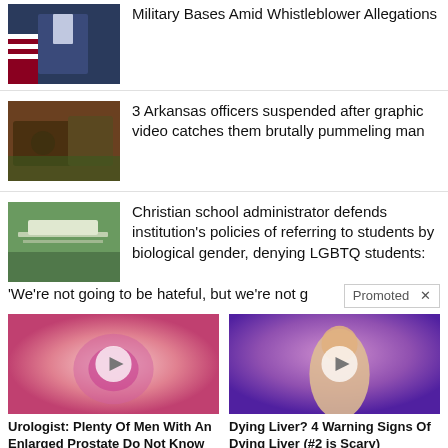[Figure (photo): News thumbnail: man in suit with American flag]
Military Bases Amid Whistleblower Allegations
[Figure (photo): News thumbnail: police officers and vehicles]
3 Arkansas officers suspended after graphic video catches them brutally pummeling man
[Figure (photo): News thumbnail: school building with fence]
Christian school administrator defends institution's policies of referring to students by biological gender, denying LGBTQ students: 'We're not going to be hateful, but we're not g
[Figure (photo): Ad image: medical illustration of prostate with play button]
Urologist: Plenty Of Men With An Enlarged Prostate Do Not Know About This Simple Solution
🔥 420
[Figure (photo): Ad image: illustration of person with back pain on purple background with play button]
Dying Liver? 4 Warning Signs Of Dying Liver (#2 is Scary)
🔥 3,647